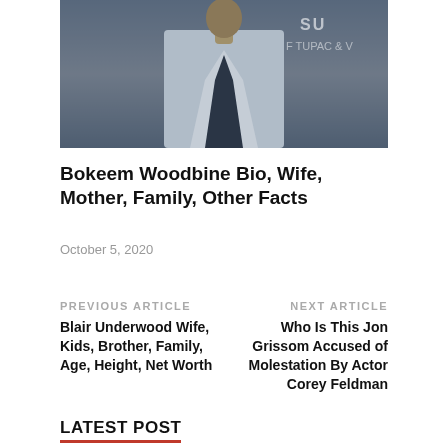[Figure (photo): A man in a light grey blazer and dark shirt, photographed at an event. Partial text visible in background reading 'TUPAC'.]
Bokeem Woodbine Bio, Wife, Mother, Family, Other Facts
October 5, 2020
PREVIOUS ARTICLE
Blair Underwood Wife, Kids, Brother, Family, Age, Height, Net Worth
NEXT ARTICLE
Who Is This Jon Grissom Accused of Molestation By Actor Corey Feldman
LATEST POST